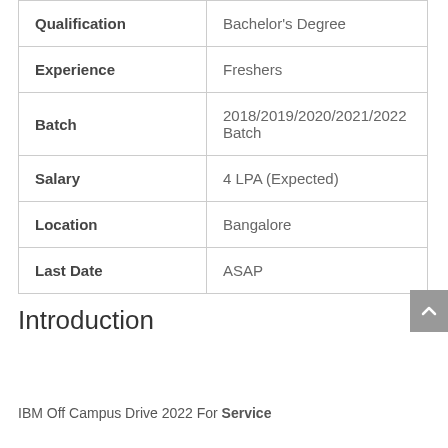| Field | Value |
| --- | --- |
| Qualification | Bachelor's Degree |
| Experience | Freshers |
| Batch | 2018/2019/2020/2021/2022 Batch |
| Salary | 4 LPA (Expected) |
| Location | Bangalore |
| Last Date | ASAP |
Introduction
IBM Off Campus Drive 2022 For Service